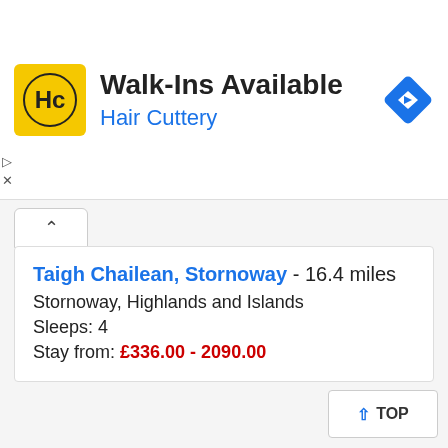[Figure (screenshot): Hair Cuttery advertisement banner with logo, text 'Walk-Ins Available' and 'Hair Cuttery', and a blue navigation icon]
Taigh Chailean, Stornoway - 16.4 miles
Stornoway, Highlands and Islands
Sleeps: 4
Stay from: £336.00 - 2090.00
More self catering near Whalebone Arch, Lewis